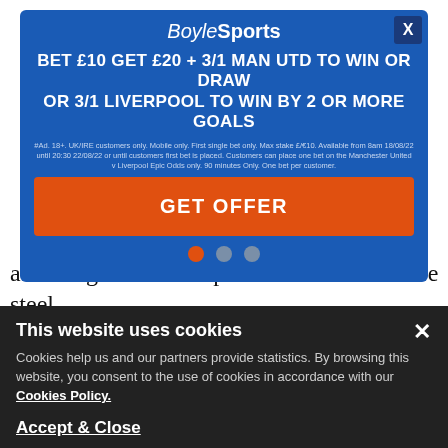attacking half to complement their defensive steel.
Markku Kanerva (Finland)
The former primary school teacher has been in the Finland national team set-up for nearly two decades; as U21 boss,
[Figure (infographic): BoyleSports advertisement modal: BET £10 GET £20 + 3/1 MAN UTD TO WIN OR DRAW OR 3/1 LIVERPOOL TO WIN BY 2 OR MORE GOALS. Terms text. GET OFFER orange button. Carousel dots.]
This website uses cookies
Cookies help us and our partners provide statistics. By browsing this website, you consent to the use of cookies in accordance with our Cookies Policy.
Accept & Close